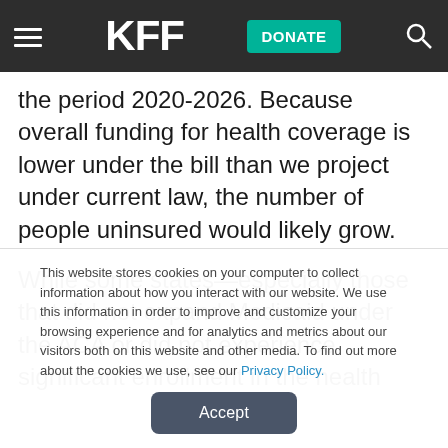KFF — DONATE
the period 2020-2026. Because overall funding for health coverage is lower under the bill than we project under current law, the number of people uninsured would likely grow.
While some states—especially those that did not expand Medicaid under the ACA or did not experience significant enrollment in the health
This website stores cookies on your computer to collect information about how you interact with our website. We use this information in order to improve and customize your browsing experience and for analytics and metrics about our visitors both on this website and other media. To find out more about the cookies we use, see our Privacy Policy.
Accept